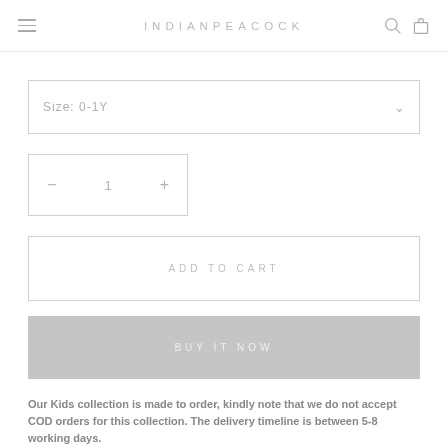INDIANPEACOCK
Size: 0-1Y
— 1 +
ADD TO CART
BUY IT NOW
Our Kids collection is made to order, kindly note that we do not accept COD orders for this collection. The delivery timeline is between 5-8 working days.